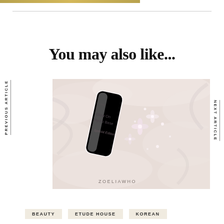You may also like...
[Figure (photo): Close-up photo of a cosmetic product bottle labeled 'Glow On Hydro Base Special Edition' with sparkly floral embellishments on a soft white fabric background. Watermark reads ZOELIAWHO.]
BEAUTY
ETUDE HOUSE
KOREAN